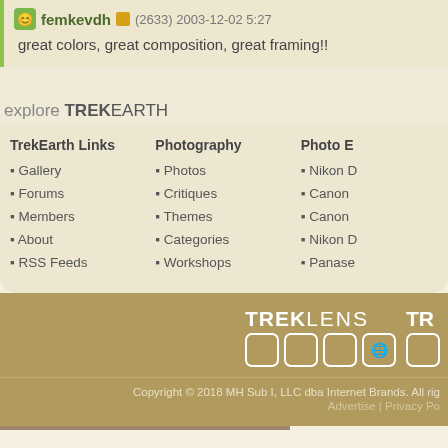femkevdh (2633) 2003-12-02 5:27
great colors, great composition, great framing!!
explore TREKEARTH
Gallery
Forums
Members
About
RSS Feeds
Photos
Critiques
Themes
Categories
Workshops
Nikon D
Canon
Canon
Nikon D
Panase
Copyright © 2018 MH Sub I, LLC dba Internet Brands. All rights reserved. Advertise | Privacy Po
[Figure (logo): TREKLENS logo with squares and TR logo partially visible]